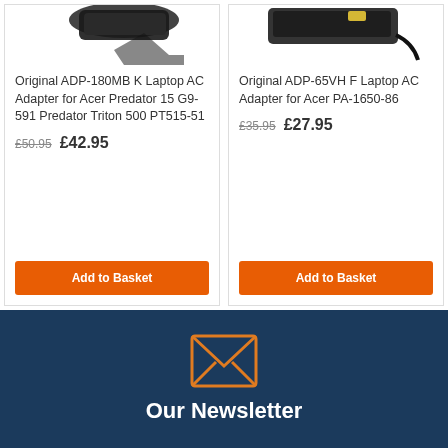[Figure (photo): Product card for Original ADP-180MB K Laptop AC Adapter for Acer Predator 15 G9-591 Predator Triton 500 PT515-51, showing top portion of a laptop AC adapter image, old price £50.95, new price £42.95, and Add to Basket button]
[Figure (photo): Product card for Original ADP-65VH F Laptop AC Adapter for Acer PA-1650-86, showing top portion of a laptop AC adapter image, old price £35.95, new price £27.95, and Add to Basket button]
[Figure (illustration): Envelope icon in orange outline style on dark navy blue background]
Our Newsletter